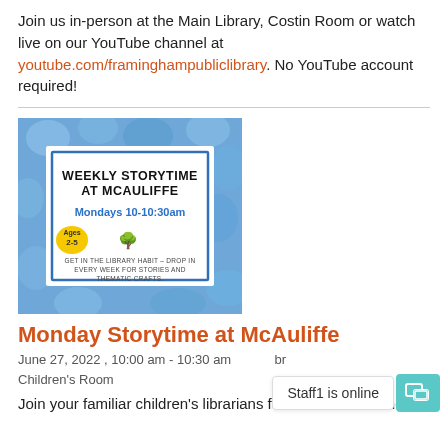Join us in-person at the Main Library, Costin Room or watch live on our YouTube channel at youtube.com/framinghampubliclibrary. No YouTube account required!
[Figure (illustration): Weekly Storytime at McAuliffe promotional poster with blue hydrangea background. Text: WEEKLY STORYTIME AT MCAULIFFE, Mondays 10-10:30am, Ages 2-5, GET IN THE LIBRARY HABIT – DROP IN EVERY WEEK FOR STORIES AND THEMATIC CRAFTS. McAuliffe Branch | 746 Water Street]
Monday Storytime at McAuliffe
June 27, 2022 , 10:00 am - 10:30 am    br  Children's Room
Join your familiar children's librarians for some stories and a